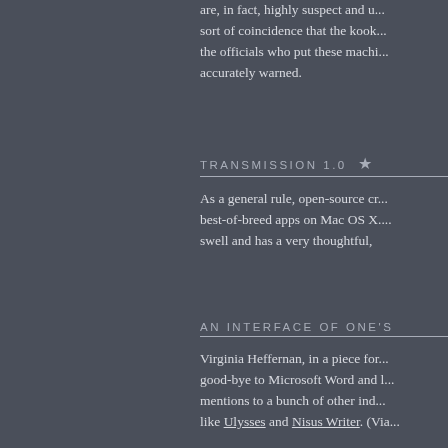are, in fact, highly suspect and u... sort of coincidence that the kook... the officials who put these machi... accurately warned.
TRANSMISSION 1.0 ★
As a general rule, open-source cr... best-of-breed apps on Mac OS X.... swell and has a very thoughtful,
AN INTERFACE OF ONE'S
Virginia Heffernan, in a piece for... good-bye to Microsoft Word and l... mentions to a bunch of other ind... like Ulysses and Nisus Writer. (Via...